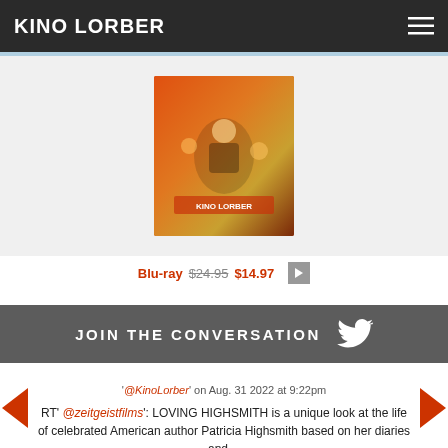KINO LORBER
[Figure (photo): Movie poster / cover art image for a film, colorful action scene]
Blu-ray $24.95 $14.97
JOIN THE CONVERSATION
'@KinoLorber' on Aug. 31 2022 at 9:22pm
RT' @zeitgeistfilms': LOVING HIGHSMITH is a unique look at the life of celebrated American author Patricia Highsmith based on her diaries and…